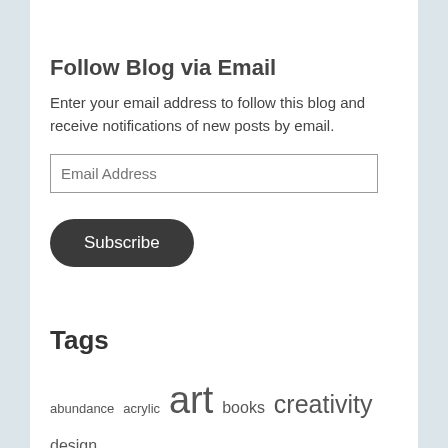Follow Blog via Email
Enter your email address to follow this blog and receive notifications of new posts by email.
Email Address
Subscribe
Tags
abundance acrylic art books creativity design drawing growth ink installation los angeles meditation mexico mixed media mural nature poetry unitedstates writer writing